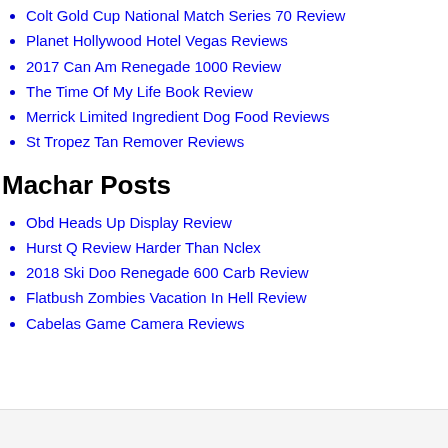Colt Gold Cup National Match Series 70 Review
Planet Hollywood Hotel Vegas Reviews
2017 Can Am Renegade 1000 Review
The Time Of My Life Book Review
Merrick Limited Ingredient Dog Food Reviews
St Tropez Tan Remover Reviews
Machar Posts
Obd Heads Up Display Review
Hurst Q Review Harder Than Nclex
2018 Ski Doo Renegade 600 Carb Review
Flatbush Zombies Vacation In Hell Review
Cabelas Game Camera Reviews